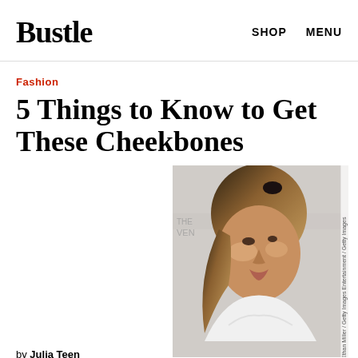Bustle  SHOP  MENU
Fashion
5 Things to Know to Get These Cheekbones
[Figure (photo): Woman with highlighted cheekbones wearing a white lace top at an event, in front of a backdrop with 'THE VENETIAN' text]
Ethan Miller / Getty Images Entertainment / Getty Images
by Julia Teen